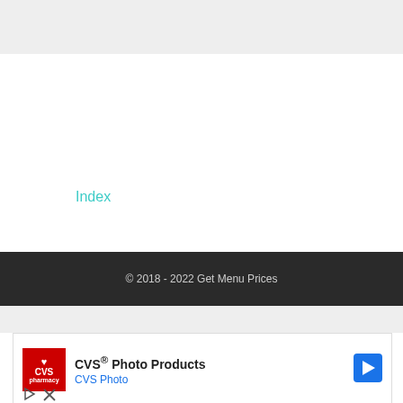Index
© 2018 - 2022 Get Menu Prices
[Figure (other): CVS Photo Products advertisement banner with CVS pharmacy logo, navigation arrow icon, play button and close button controls]